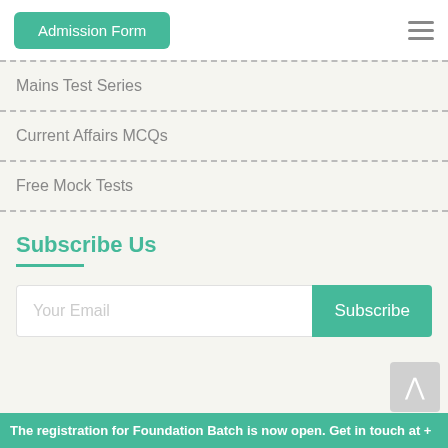Admission Form
Mains Test Series
Current Affairs MCQs
Free Mock Tests
Subscribe Us
Your Email
Subscribe
The registration for Foundation Batch is now open. Get in touch at +